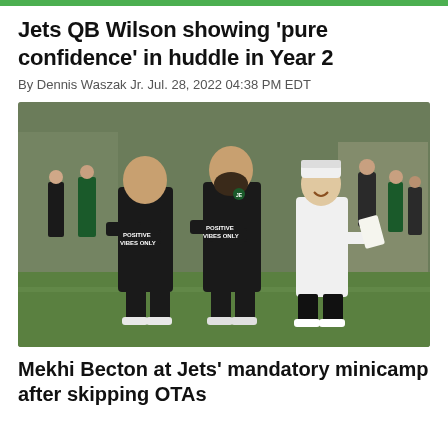Jets QB Wilson showing 'pure confidence' in huddle in Year 2
By Dennis Waszak Jr. Jul. 28, 2022 04:38 PM EDT
[Figure (photo): Photo of three men standing on a football practice field. Two men wearing black shirts reading 'Positive Vibes Only' and one man in a white shirt and backwards cap. Jets practice facility background with green turf and other people visible.]
Mekhi Becton at Jets' mandatory minicamp after skipping OTAs